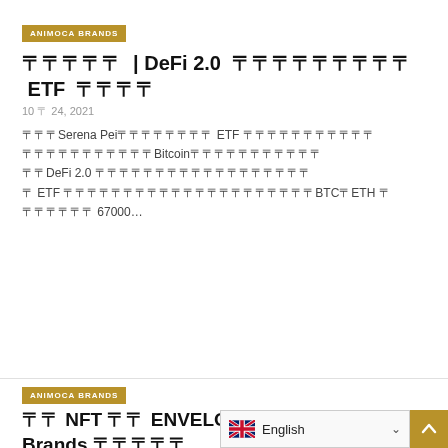ANIMOCA BRANDS
〓〓〓〓〓 | DeFi 2.0 〓〓〓〓〓〓〓〓〓 ETF 〓〓〓〓
10 〓 24, 2021
〓〓〓Serena Pei〓〓〓〓〓〓〓〓 ETF 〓〓〓〓〓〓〓〓〓〓〓〓〓〓〓〓〓〓〓〓〓〓Bitcoin〓〓〓〓〓〓〓〓〓〓〓〓〓〓DeFi 2.0 〓〓〓〓〓〓〓〓〓〓〓〓〓〓〓〓〓〓〓〓〓〓〓〓〓 ETF 〓〓〓〓〓〓〓〓〓〓〓〓〓〓〓〓〓〓〓〓〓BTC〓ETH 〓〓〓〓〓〓〓 67000…
ANIMOCA BRANDS
〓〓 NFT 〓〓 ENVELOP 〓〓 Animoca Brands 〓〓〓〓〓〓〓〓〓〓〓〓〓〓